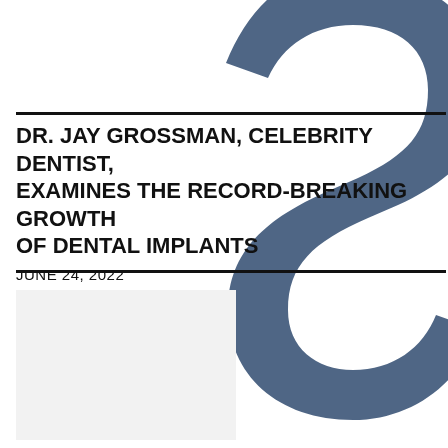[Figure (logo): Large stylized 'S' letter logo in slate blue/steel color, occupying the right half of the page background, oversized decorative element]
DR. JAY GROSSMAN, CELEBRITY DENTIST, EXAMINES THE RECORD-BREAKING GROWTH OF DENTAL IMPLANTS
JUNE 24, 2022